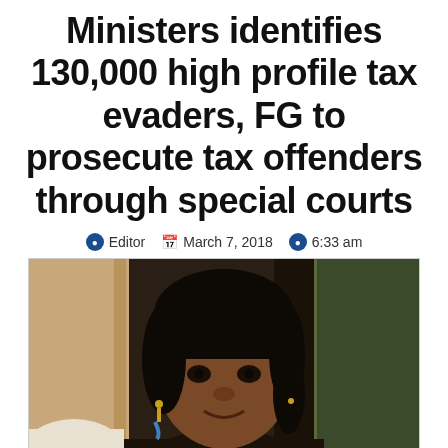Ministers identifies 130,000 high profile tax evaders, FG to prosecute tax offenders through special courts
Editor  March 7, 2018  6:33 am
[Figure (photo): Portrait photo of a woman (Nigerian government minister) in a dark jacket with gold earrings, smiling, with a blurred background showing a door and greenery.]